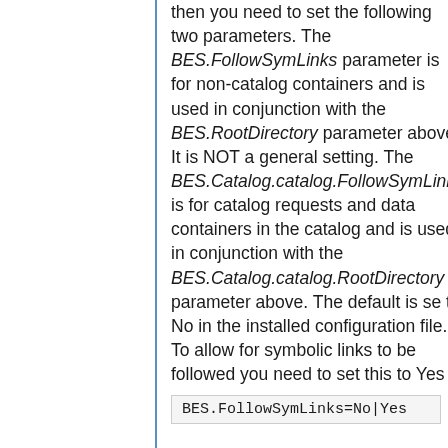then you need to set the following two parameters. The BES.FollowSymLinks parameter is for non-catalog containers and is used in conjunction with the BES.RootDirectory parameter above. It is NOT a general setting. The BES.Catalog.catalog.FollowSymLinks is for catalog requests and data containers in the catalog and is used in conjunction with the BES.Catalog.catalog.RootDirectory parameter above. The default is set to No in the installed configuration file. To allow for symbolic links to be followed you need to set this to Yes
BES.FollowSymLinks=No|Yes